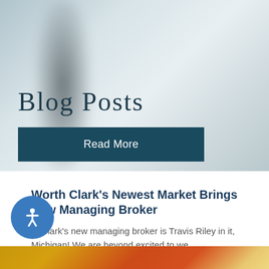[Figure (photo): Hero banner with blurred dark gradient overlay on a light blue-gray misty background]
Blog Posts
Read More
Worth Clark's Newest Market Brings New Managing Broker
th Clark's new managing broker is Travis Riley in it, Michigan! We are beyond excited to we...
[Figure (photo): Bottom decorative image bar with gold and orange/rust color tones]